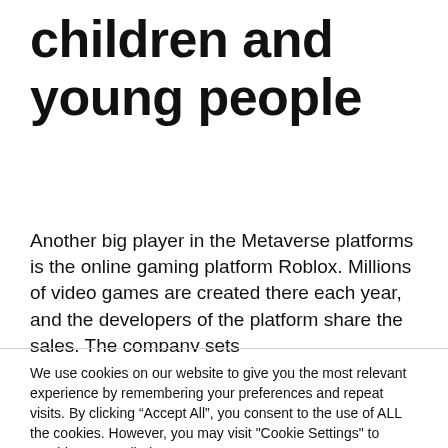children and young people
Another big player in the Metaverse platforms is the online gaming platform Roblox. Millions of video games are created there each year, and the developers of the platform share the sales. The company sets
We use cookies on our website to give you the most relevant experience by remembering your preferences and repeat visits. By clicking “Accept All”, you consent to the use of ALL the cookies. However, you may visit "Cookie Settings" to provide a controlled consent.
Cookie Settings
Accept All